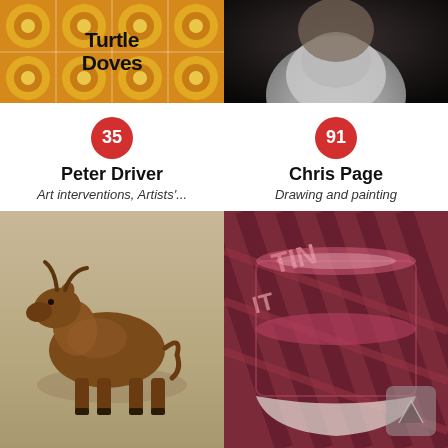[Figure (photo): Left top: colorful mandala/floral pattern artwork with text 'Turtle Doves' in black handwritten style lettering over orange and yellow mandala patterns]
[Figure (photo): Right top: close-up portrait photo of an elderly man with a large white/grey beard against a dark background]
35
Peter Driver
Art interventions, Artists'...
91
Chris Page
Drawing and painting
[Figure (photo): Bottom left: bronze sculpture of a bull/longhorn cow standing, photographed against a beige/tan background]
[Figure (photo): Bottom right: rolled up printed material/wallpaper or poster with dark maroon/burgundy geometric diagonal line patterns and pink/light colored text partially visible]